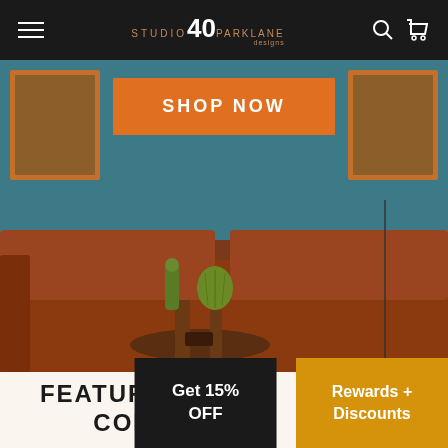Studio 40 Parklane Designs — navigation bar with hamburger menu, logo, search and cart icons
[Figure (photo): Hero image of a brown leather sofa with cacti on a small round wooden table, against a teal wall with framed art. Orange 'SHOP NOW' button overlaid at top center.]
FEATURED DESIGN COLLECTIONS
[Figure (infographic): Dark popup overlay: 'Get 15% OFF']
[Figure (infographic): Gold/amber popup overlay: 'Rewards + Discounts']